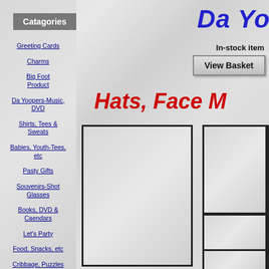Catagories
Greeting Cards
Charms
Big Foot Product
Da Yoopers-Music, DVD
Shirts, Tees & Sweats
Babies, Youth-Tees, etc
Pasty Gifts
Souvenirs-Shot Glasses
Books, DVD & Caendars
Let's Party
Food, Snacks, etc
Cribbage, Puzzles
Da Yo
In-stock item
View Basket
Hats, Face M
[Figure (other): Product image placeholder box left]
[Figure (other): Product image placeholder box right with horizontal dividers]